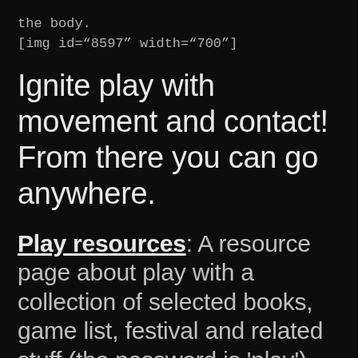the body.
[img id="8597" width="700"]
Ignite play with movement and contact! From there you can go anywhere.
Play resources: A resource page about play with a collection of selected books, game list, festival and related stuff (the password is 'play').